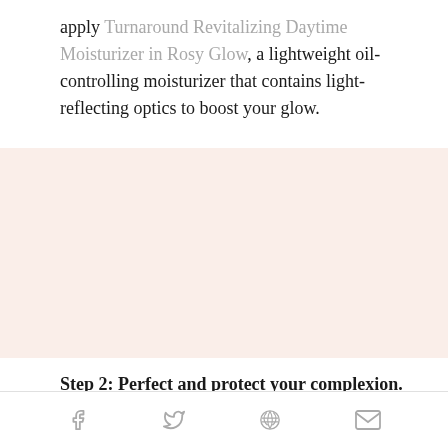apply Turnaround Revitalizing Daytime Moisturizer in Rosy Glow, a lightweight oil-controlling moisturizer that contains light-reflecting optics to boost your glow.
[Figure (other): Light pink/rose colored rectangular background block]
Step 2: Perfect and protect your complexion.
Social share icons: Facebook, Twitter, Pinterest, Email